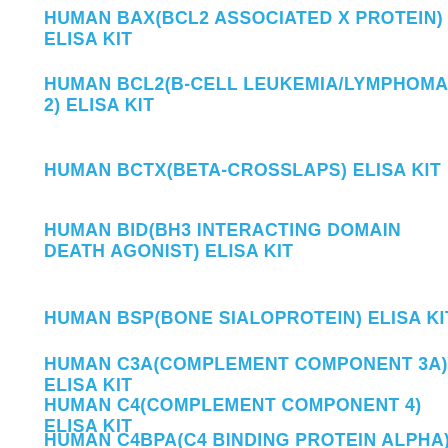HUMAN BAX(BCL2 ASSOCIATED X PROTEIN) ELISA KIT
HUMAN BCL2(B-CELL LEUKEMIA/LYMPHOMA 2) ELISA KIT
HUMAN BCTX(BETA-CROSSLAPS) ELISA KIT
HUMAN BID(BH3 INTERACTING DOMAIN DEATH AGONIST) ELISA KIT
HUMAN BSP(BONE SIALOPROTEIN) ELISA KIT
HUMAN C3A(COMPLEMENT COMPONENT 3A) ELISA KIT
HUMAN C4(COMPLEMENT COMPONENT 4) ELISA KIT
HUMAN C4BPA(C4 BINDING PROTEIN ALPHA) ELISA KIT